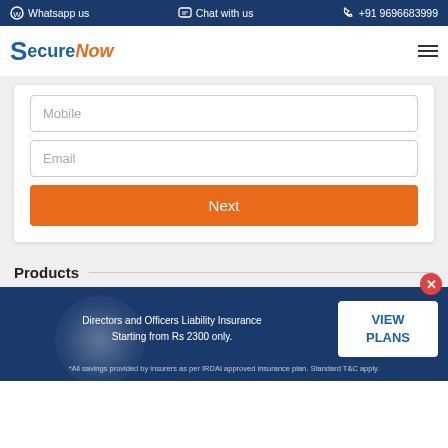Whatsapp us  Chat with us  +91 9696683999
[Figure (logo): SecureNow logo with blue S and orange Now text]
Mobile
Email
Next
Products
Directors and Officers Liability Insurance
Starting from Rs 2300 only.
VIEW PLANS
*All savings provided by insurers as per IRDAI approved insurance plan. Standard T&C apply.